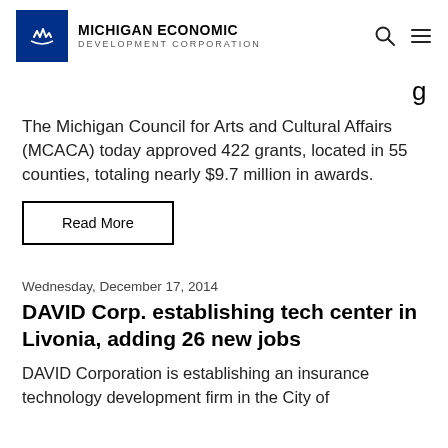MICHIGAN ECONOMIC DEVELOPMENT CORPORATION
g
The Michigan Council for Arts and Cultural Affairs (MCACA) today approved 422 grants, located in 55 counties, totaling nearly $9.7 million in awards.
Read More
Wednesday, December 17, 2014
DAVID Corp. establishing tech center in Livonia, adding 26 new jobs
DAVID Corporation is establishing an insurance technology development firm in the City of